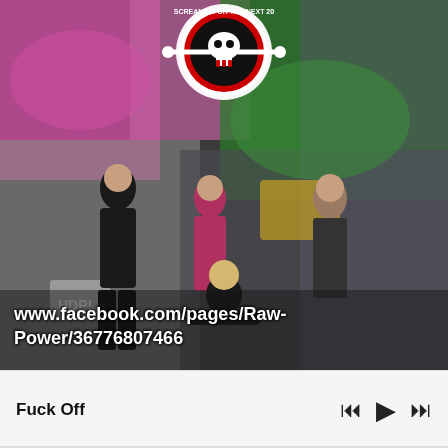[Figure (photo): Band photo of four musicians posing in front of a colorful graffiti wall. One man crouches in the foreground wearing a black t-shirt with blonde hair. Three others stand behind: one in black sleeveless shirt with tattoos, one in plaid shirt holding a case, one in patterned short-sleeve shirt. A skull logo with text 'Screamin for the Next 20' appears at the top. Text overlay reads 'www.facebook.com/pages/Raw-Power/36776807466']
www.facebook.com/pages/Raw-Power/36776807466
Fuck Off